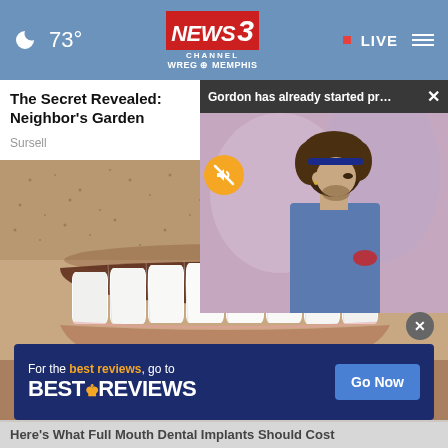[Figure (screenshot): News website screenshot showing WREG News Channel 3 Memphis navigation bar with moon icon, 73° temperature, NEWS3 logo, LIVE indicator, and hamburger menu]
The Secret Revealed: Neighbor's Garden
Sursell
[Figure (screenshot): Video popup overlay showing text 'Gordon has already started preparing f...' with close button X, and video thumbnail of man with curly hair, mute button icon]
[Figure (photo): Close-up photo of a man's mouth showing bright white teeth (dental implant advertisement image)]
[Figure (screenshot): BestReviews advertisement banner: 'For the best reviews, go to BESTREVIEWS' with 'Go Now' button, and close X button above it]
Here's What Full Mouth Dental Implants Should Cost